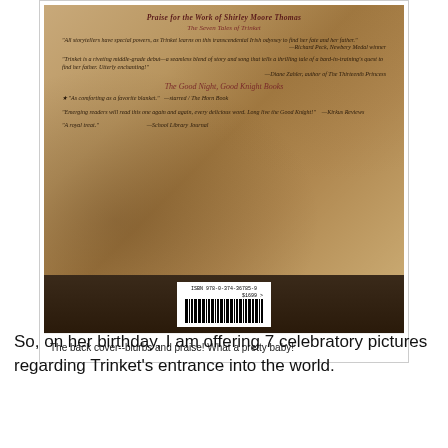[Figure (photo): Photograph of the back cover of a book titled showing blurbs and praise for Shirley Moore Thomas works including The Seven Tales of Trinket and The Good Night, Good Knight Books, with barcode at bottom]
The back cover--blurbs and praise!  What a pretty baby!
So, on her birthday, I am offering 7 celebratory pictures regarding Trinket's entrance into the world.